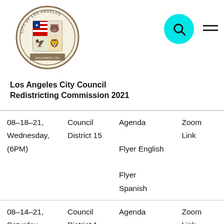[Figure (logo): Los Angeles City seal/logo, circular, with eagle and bear shield]
[Figure (other): Cyan circular search button icon and hamburger menu icon]
Los Angeles City Council Redistricting Commission 2021
| Date | District | Documents | Link |
| --- | --- | --- | --- |
| 08-18-21, Wednesday, (6PM) | Council District 15 | Agenda

Flyer English

Flyer Spanish | Zoom Link |
| 08-14-21, Saturday, (10AM) | Council District 1 | Agenda

English

Spanish | Zoom Link |